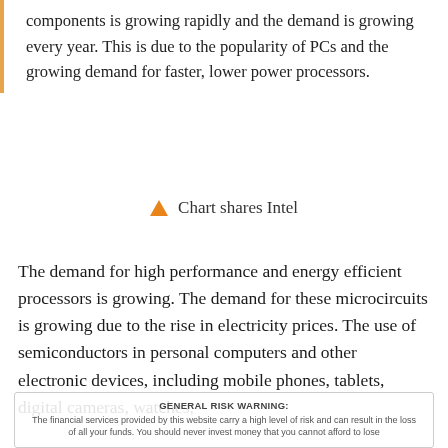components is growing rapidly and the demand is growing every year. This is due to the popularity of PCs and the growing demand for faster, lower power processors.
[Figure (other): Legend item showing an orange triangle marker labeled 'Chart shares Intel']
The demand for high performance and energy efficient processors is growing. The demand for these microcircuits is growing due to the rise in electricity prices. The use of semiconductors in personal computers and other electronic devices, including mobile phones, tablets, digital cameras, watches, medical equipment and other household items, re...
GENERAL RISK WARNING: The financial services provided by this website carry a high level of risk and can result in the loss of all your funds. You should never invest money that you cannot afford to lose